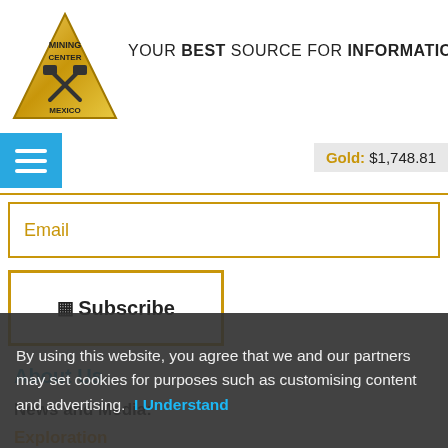[Figure (logo): Mining Center Mexico triangular gold logo with crossed hammers icon]
YOUR BEST SOURCE FOR INFORMATION
Gold: $1,748.81
Email
Subscribe
About Us
News and Media:
Exploration
Development
Investor's Corner
By using this website, you agree that we and our partners may set cookies for purposes such as customising content and advertising. I Understand